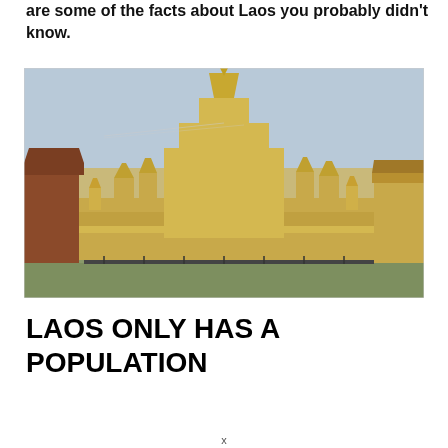are some of the facts about Laos you probably didn't know.
[Figure (photo): Golden Buddhist stupa (Pha That Luang) in Laos, a large golden temple with multiple spires surrounded by a rectangular base wall, against a hazy sky with decorative banners strung in the background.]
LAOS ONLY HAS A POPULATION